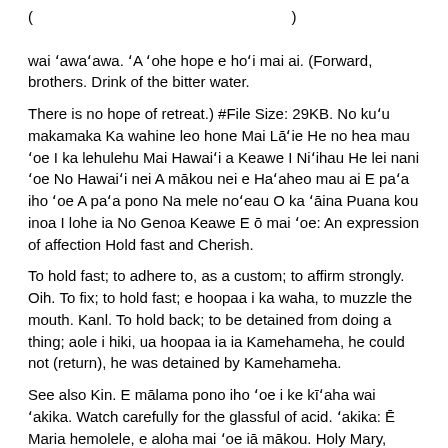( ) wai ʻawaʻawa. ʻA ʻohe hope e hoʻi mai ai. (Forward, brothers. Drink of the bitter water.
There is no hope of retreat.) #File Size: 29KB. No kuʻu makamaka Ka wahine leo hone Mai Lāʻie He no hea mau ʻoe I ka lehulehu Mai Hawaiʻi a Keawe I Niʻihau He lei nani ʻoe No Hawaiʻi nei A mākou nei e Haʻaheo mau ai E paʻa iho ʻoe A paʻa pono Na mele noʻeau O ka ʻāina Puana kou inoa I lohe ia No Genoa Keawe E ō mai ʻoe: An expression of affection Hold fast and Cherish.
To hold fast; to adhere to, as a custom; to affirm strongly. Oih. To fix; to hold fast; e hoopaa i ka waha, to muzzle the mouth. Kanl. To hold back; to be detained from doing a thing; aole i hiki, ua hoopaa ia ia Kamehameha, he could not (return), he was detained by Kamehameha.
See also Kin. E mālama pono iho ʻoe i ke kīʻaha wai ʻakika. Watch carefully for the glassful of acid. ʻakika: Ē Maria hemolele, e aloha mai ʻoe iā mākou. Holy Mary, have mercy on us. aloha: E mihi ʻoe iāia. Apologize to him. mihi: E molo mai ʻoe ā paʻa pono kēia pūʻolo.